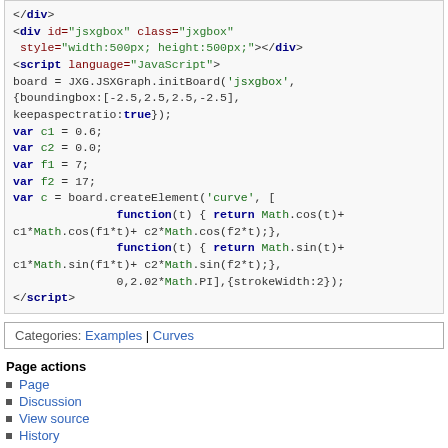Code block showing JSXGraph curve creation with HTML/JavaScript
Categories: Examples | Curves
Page actions
Page
Discussion
View source
History
Personal tools
Log in